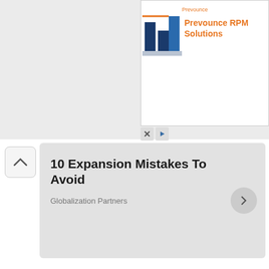[Figure (screenshot): Advertisement banner for Prevounce RPM Solutions with logo showing a bar chart icon and orange bold text 'Prevounce RPM Solutions' with small label 'Prevounce' above]
[Figure (screenshot): Article card showing '10 Expansion Mistakes To Avoid' from Globalization Partners with a chevron-up collapse button and right arrow button]
Real Madrid, for their part, are looking to tie Asensio down to a new contract. Whether he pens the deal or seeks new pastures remains to be seen.
[Figure (photo): Photograph showing three people in business/medical attire, with a man in the center holding his head in his hands in apparent distress, another man on the left, and a blonde woman on the right]